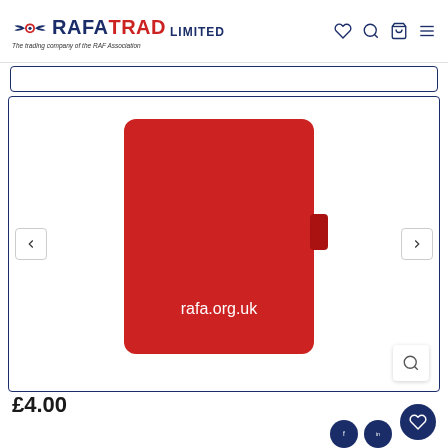RAFA TRAD LIMITED - The trading company of the RAF Association
[Figure (photo): Red RAFA branded notebook or folder with elastic strap and rafa.org.uk text on cover, displayed against white background]
£4.00